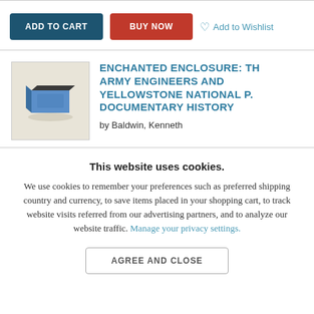[Figure (other): E-commerce product page header with ADD TO CART button (dark teal), BUY NOW button (red), and Add to Wishlist link with heart icon]
[Figure (illustration): Book thumbnail illustration showing an isometric book with blue cover on beige background]
ENCHANTED ENCLOSURE: TH ARMY ENGINEERS AND YELLOWSTONE NATIONAL PA DOCUMENTARY HISTORY
by Baldwin, Kenneth
This website uses cookies.
We use cookies to remember your preferences such as preferred shipping country and currency, to save items placed in your shopping cart, to track website visits referred from our advertising partners, and to analyze our website traffic. Manage your privacy settings.
AGREE AND CLOSE